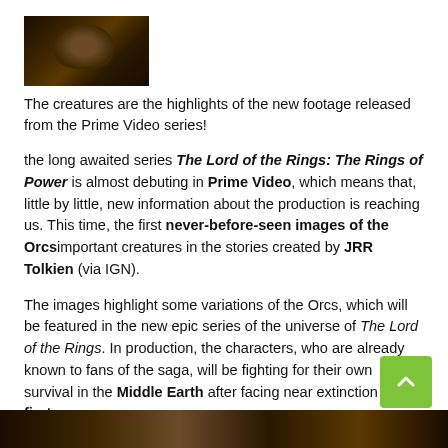[Figure (photo): A dark creature/Orc face from The Lord of the Rings: The Rings of Power]
The creatures are the highlights of the new footage released from the Prime Video series!
the long awaited series The Lord of the Rings: The Rings of Power is almost debuting in Prime Video, which means that, little by little, new information about the production is reaching us. This time, the first never-before-seen images of the Orcsimportant creatures in the stories created by JRR Tolkien (via IGN).
The images highlight some variations of the Orcs, which will be featured in the new epic series of the universe of The Lord of the Rings. In production, the characters, who are already known to fans of the saga, will be fighting for their own survival in the Middle Earth after facing near extinction in the first era.
[Figure (photo): Bottom image showing a dark scene from The Rings of Power]